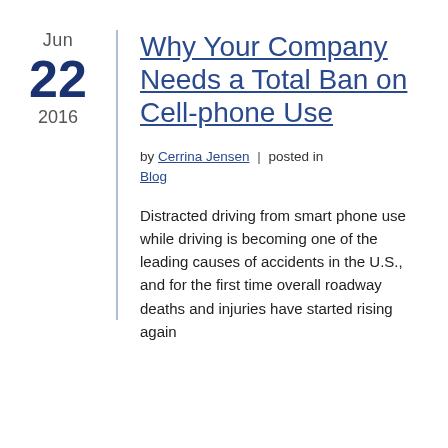Jun 22 2016
Why Your Company Needs a Total Ban on Cell-phone Use
by Cerrina Jensen | posted in Blog
Distracted driving from smart phone use while driving is becoming one of the leading causes of accidents in the U.S., and for the first time overall roadway deaths and injuries have started rising again